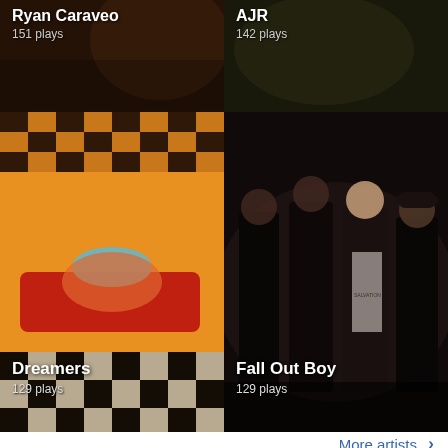[Figure (photo): Ryan Caraveo artist photo with dark warm tones]
Ryan Caraveo
151 plays
[Figure (photo): AJR artist photo with dark olive tones]
AJR
142 plays
[Figure (photo): Dreamers artist photo — colorful upside-down scene with checkered floor and yellow room]
Dreamers
129 plays
[Figure (photo): Fall Out Boy band photo — four members in dark clothing against dark background]
Fall Out Boy
129 plays
More artists ›